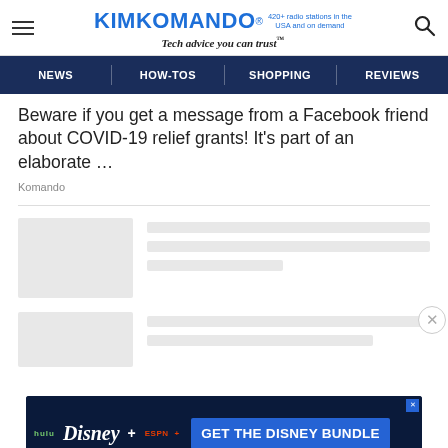KIMKOMANDO® 420+ radio stations in the USA and on demand Tech advice you can trust™
NEWS | HOW-TOS | SHOPPING | REVIEWS
Beware if you get a message from a Facebook friend about COVID-19 relief grants! It's part of an elaborate …
Komando
[Figure (screenshot): Loading/skeleton content placeholder with gray rectangles representing article thumbnails and text lines]
[Figure (screenshot): Disney Bundle advertisement banner showing Hulu, Disney+, ESPN+ logos with 'GET THE DISNEY BUNDLE' call to action]